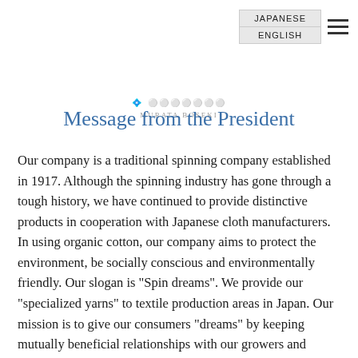JAPANESE  ENGLISH
[Figure (logo): Decorative logo/brand mark text in small gray stylized font]
Message from the President
Our company is a traditional spinning company established in 1917. Although the spinning industry has gone through a tough history, we have continued to provide distinctive products in cooperation with Japanese cloth manufacturers. In using organic cotton, our company aims to protect the environment, be socially conscious and environmentally friendly. Our slogan is "Spin dreams". We provide our "specialized yarns" to textile production areas in Japan. Our mission is to give our consumers "dreams" by keeping mutually beneficial relationships with our growers and suppliers.We also strive to incorporate the latest textile industry technologies, to be where we need to be for the future. We always think about what we should be, while maintaining the traditional